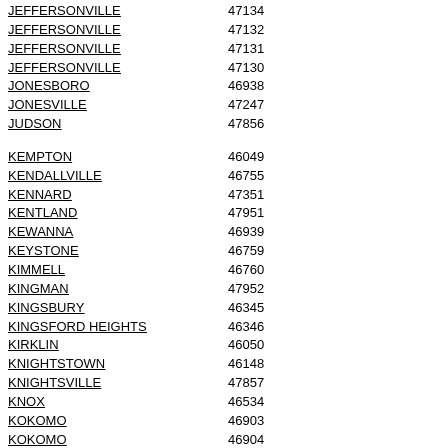| City | ZIP |
| --- | --- |
| JEFFERSONVILLE | 47134 |
| JEFFERSONVILLE | 47132 |
| JEFFERSONVILLE | 47131 |
| JEFFERSONVILLE | 47130 |
| JONESBORO | 46938 |
| JONESVILLE | 47247 |
| JUDSON | 47856 |
| KEMPTON | 46049 |
| KENDALLVILLE | 46755 |
| KENNARD | 47351 |
| KENTLAND | 47951 |
| KEWANNA | 46939 |
| KEYSTONE | 46759 |
| KIMMELL | 46760 |
| KINGMAN | 47952 |
| KINGSBURY | 46345 |
| KINGSFORD HEIGHTS | 46346 |
| KIRKLIN | 46050 |
| KNIGHTSTOWN | 46148 |
| KNIGHTSVILLE | 47857 |
| KNOX | 46534 |
| KOKOMO | 46903 |
| KOKOMO | 46904 |
| KOKOMO | 46901 |
| KOKOMO | 46902 |
| KOLEEN | 47439 |
| KOUTS | 46347 |
| KURTZ | 47249 |